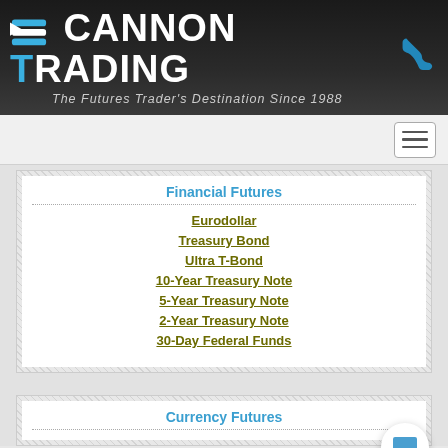[Figure (logo): Cannon Trading logo with blue and white arrow icon, white and blue text reading 'Cannon Trading', tagline 'The Futures Trader's Destination Since 1988', and blue phone icon on the right]
Financial Futures
Eurodollar
Treasury Bond
Ultra T-Bond
10-Year Treasury Note
5-Year Treasury Note
2-Year Treasury Note
30-Day Federal Funds
Currency Futures